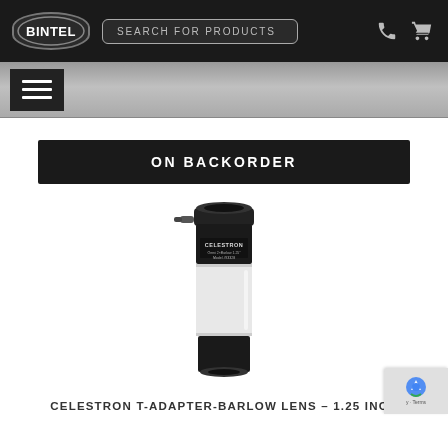BINTEL — SEARCH FOR PRODUCTS
ON BACKORDER
[Figure (photo): Celestron T-Adapter-Barlow Lens 1.25 inch product photo — a black cylindrical optical adapter with white/silver middle section and a small screw knob on the side, showing CELESTRON branding label]
CELESTRON T-ADAPTER-BARLOW LENS – 1.25 INCH